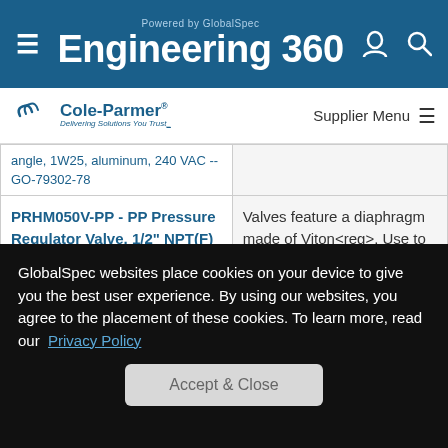Powered by GlobalSpec Engineering 360
Cole-Parmer Delivering Solutions You Trust — Supplier Menu
angle, 1W25, aluminum, 240 VAC -- GO-79302-78
PRHM050V-PP - PP Pressure Regulator Valve, 1/2" NPT(F) -- GO-01350-86
Valves feature a diaphragm made of Viton<reg>. Use to control your outlet pressure between 5 and 50 psig; up to 150 psig inlet. Ideal for your liquid applications.
GlobalSpec websites place cookies on your device to give you the best user experience. By using our websites, you agree to the placement of these cookies. To learn more, read our Privacy Policy
Accept & Close